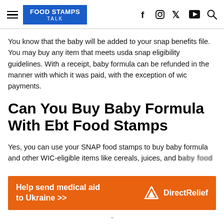FOOD STAMPS TALK
You know that the baby will be added to your snap benefits file. You may buy any item that meets usda snap eligibility guidelines. With a receipt, baby formula can be refunded in the manner with which it was paid, with the exception of wic payments.
Can You Buy Baby Formula With Ebt Food Stamps
Yes, you can use your SNAP food stamps to buy baby formula and other WIC-eligible items like cereals, juices, and baby food
[Figure (infographic): Orange advertisement banner: Help send medical aid to Ukraine >> with Direct Relief logo on the right]